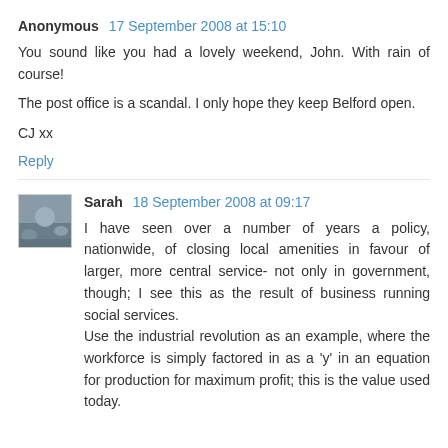Anonymous 17 September 2008 at 15:10
You sound like you had a lovely weekend, John. With rain of course!
The post office is a scandal. I only hope they keep Belford open.
CJ xx
Reply
Sarah 18 September 2008 at 09:17
I have seen over a number of years a policy, nationwide, of closing local amenities in favour of larger, more central service- not only in government, though; I see this as the result of business running social services.
Use the industrial revolution as an example, where the workforce is simply factored in as a 'y' in an equation for production for maximum profit; this is the value used today.